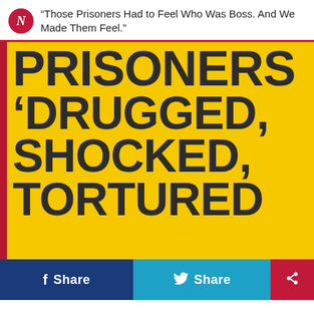“Those Prisoners Had to Feel Who Was Boss. And We Made Them Feel.”
[Figure (photo): Yellow book or newspaper cover with large bold dark text reading 'PRISONERS 'DRUGGED, SHOCKED, TORTURED' with a red bar on the left edge. The text is cropped at the bottom cutting off 'TORTURED'.]
f Share
Share
Share icon